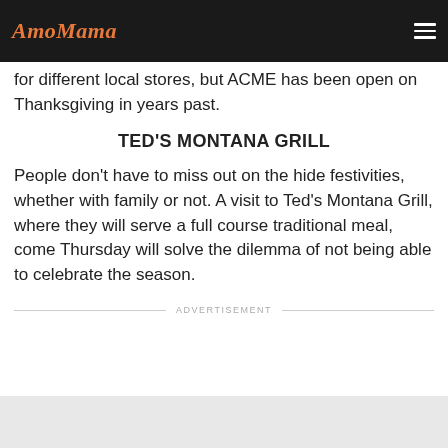AmoMama
for different local stores, but ACME has been open on Thanksgiving in years past.
TED'S MONTANA GRILL
People don't have to miss out on the hide festivities, whether with family or not. A visit to Ted's Montana Grill, where they will serve a full course traditional meal, come Thursday will solve the dilemma of not being able to celebrate the season.
ADVERTISEMENT